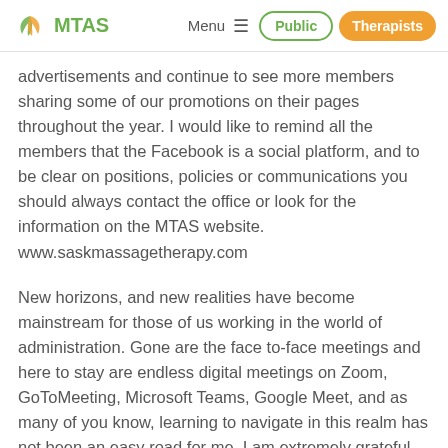MTAS | Menu | Public | Therapists
advertisements and continue to see more members sharing some of our promotions on their pages throughout the year.  I would like to remind all the members that the Facebook is a social platform, and to be clear on positions, policies or communications you should always contact the office or look for the information on the MTAS website. www.saskmassagetherapy.com
New horizons, and new realities have become mainstream for those of us working in the world of administration. Gone are the face to-face meetings and here to stay are endless digital meetings on Zoom, GoToMeeting, Microsoft Teams, Google Meet, and as many of you know, learning to navigate in this realm has not been an easy road for me.  I am extremely grateful and delighted that this year, I will once again be able to